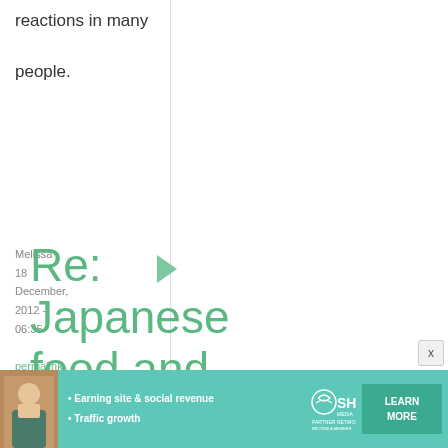reactions in many people.
Melissa
18 December, 2012 - 06:35
permalink
Re: Japanese food and beverages for diabetics and low-carb ...
[Figure (infographic): Advertisement banner for SHE Partner Network with a woman's photo, bullet points 'Earning site & social revenue' and 'Traffic growth', SHE Media logo, and 'LEARN MORE' button.]